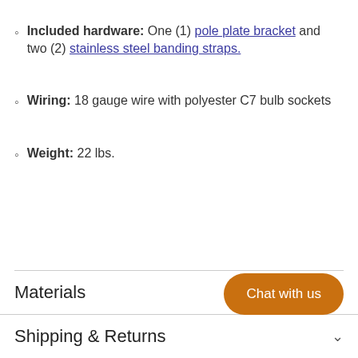Included hardware: One (1) pole plate bracket and two (2) stainless steel banding straps.
Wiring: 18 gauge wire with polyester C7 bulb sockets
Weight: 22 lbs.
Materials
Shipping & Returns